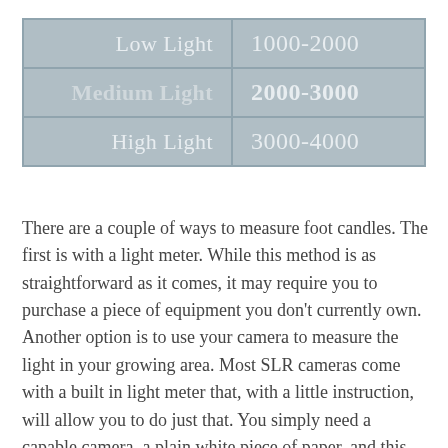| Light Level | Range |
| --- | --- |
| Low Light | 1000-2000 |
| Medium Light | 2000-3000 |
| High Light | 3000-4000 |
There are a couple of ways to measure foot candles. The first is with a light meter. While this method is as straightforward as it comes, it may require you to purchase a piece of equipment you don't currently own. Another option is to use your camera to measure the light in your growing area. Most SLR cameras come with a built in light meter that, with a little instruction, will allow you to do just that. You simply need a capable camera, a plain white piece of paper, and this calculator. Following the instructions included with the calculator will give you a good approximation of foot candles in that area.